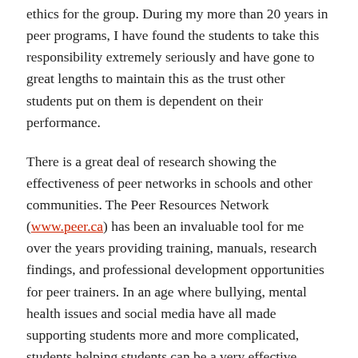ethics for the group. During my more than 20 years in peer programs, I have found the students to take this responsibility extremely seriously and have gone to great lengths to maintain this as the trust other students put on them is dependent on their performance.
There is a great deal of research showing the effectiveness of peer networks in schools and other communities. The Peer Resources Network (www.peer.ca) has been an invaluable tool for me over the years providing training, manuals, research findings, and professional development opportunities for peer trainers. In an age where bullying, mental health issues and social media have all made supporting students more and more complicated, students helping students can be a very effective strategy for peer counselling about student to provide